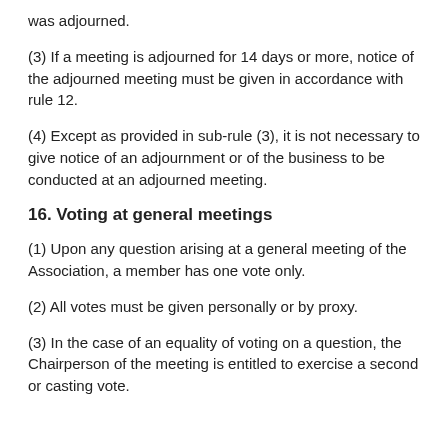was adjourned.
(3) If a meeting is adjourned for 14 days or more, notice of the adjourned meeting must be given in accordance with rule 12.
(4) Except as provided in sub-rule (3), it is not necessary to give notice of an adjournment or of the business to be conducted at an adjourned meeting.
16. Voting at general meetings
(1) Upon any question arising at a general meeting of the Association, a member has one vote only.
(2) All votes must be given personally or by proxy.
(3) In the case of an equality of voting on a question, the Chairperson of the meeting is entitled to exercise a second or casting vote.